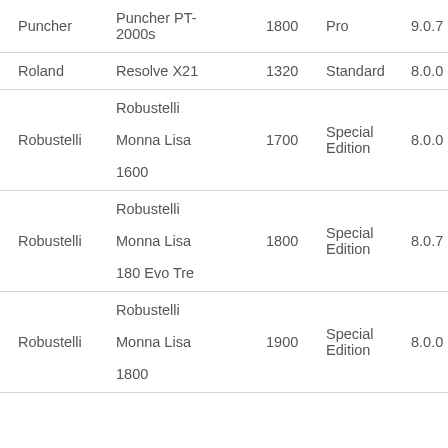| Puncher | Puncher PT-2000s | 1800 | Pro | 9.0.7 | 9 |
| Roland | Resolve X21 | 1320 | Standard | 8.0.0 |  |
| Robustelli | Robustelli Monna Lisa 1600 | 1700 | Special Edition | 8.0.0 |  |
| Robustelli | Robustelli Monna Lisa 180 Evo Tre | 1800 | Special Edition | 8.0.7 |  |
| Robustelli | Robustelli Monna Lisa 1800 | 1900 | Special Edition | 8.0.0 |  |